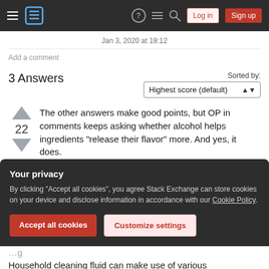Navigation bar with hamburger menu, Stack Exchange logo, help, inbox, search icons, Log in and Sign up buttons
Jan 3, 2020 at 19:12
Add a comment
3 Answers
Sorted by: Highest score (default)
The other answers make good points, but OP in comments keeps asking whether alcohol helps ingredients "release their flavor" more. And yes, it does.
Your privacy
By clicking "Accept all cookies", you agree Stack Exchange can store cookies on your device and disclose information in accordance with our Cookie Policy.
Accept all cookies  Customize settings
Household cleaning fluid can make use of various